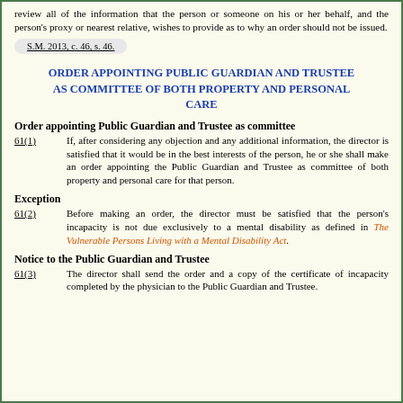review all of the information that the person or someone on his or her behalf, and the person's proxy or nearest relative, wishes to provide as to why an order should not be issued.
S.M. 2013, c. 46, s. 46.
ORDER APPOINTING PUBLIC GUARDIAN AND TRUSTEE AS COMMITTEE OF BOTH PROPERTY AND PERSONAL CARE
Order appointing Public Guardian and Trustee as committee
61(1)   If, after considering any objection and any additional information, the director is satisfied that it would be in the best interests of the person, he or she shall make an order appointing the Public Guardian and Trustee as committee of both property and personal care for that person.
Exception
61(2)   Before making an order, the director must be satisfied that the person's incapacity is not due exclusively to a mental disability as defined in The Vulnerable Persons Living with a Mental Disability Act.
Notice to the Public Guardian and Trustee
61(3)   The director shall send the order and a copy of the certificate of incapacity completed by the physician to the Public Guardian and Trustee.